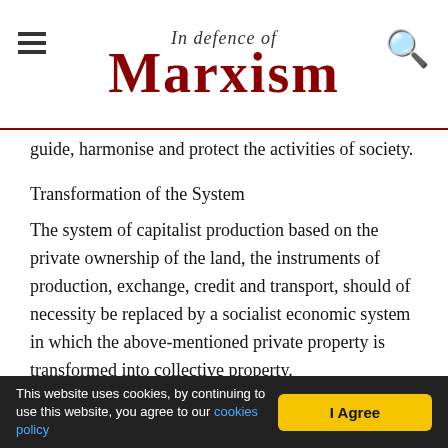In Defence of Marxism
guide, harmonise and protect the activities of society.
Transformation of the System
The system of capitalist production based on the private ownership of the land, the instruments of production, exchange, credit and transport, should of necessity be replaced by a socialist economic system in which the above-mentioned private property is transformed into collective property.
Dictatorship of the Workers
During the process of the total transformation of the system a dictatorship of organised workers is necessary.
The evolutionary transformation by means of the
This website uses cookies, by continuing to use this website, you agree to our cookies policy  I Agree